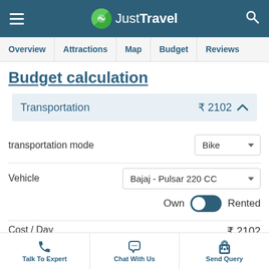JustTravel
Overview | Attractions | Map | Budget | Reviews
Budget calculation
Transportation  ₹ 2102
transportation mode  Bike
Vehicle  Bajaj - Pulsar 220 CC  Own  Rented
Cost / Day  ₹ 2102
(owned)
Talk To Expert  Chat With Us  Send Query